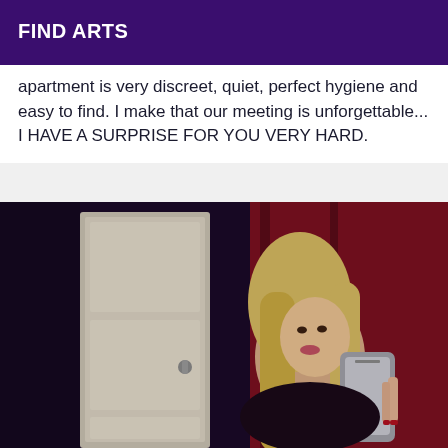FIND ARTS
apartment is very discreet, quiet, perfect hygiene and easy to find. I make that our meeting is unforgettable... I HAVE A SURPRISE FOR YOU VERY HARD.
[Figure (photo): A blonde woman taking a mirror selfie with a smartphone in a room with a white door and dark red curtains.]